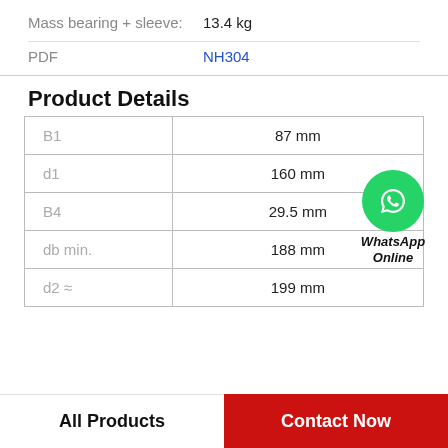Mass bearing + sleeve: 13.4 kg
PDF   NH304
Product Details
| Parameter | Value |
| --- | --- |
| B1 | 87 mm |
| d1 | 160 mm |
| B4 | 29.5 mm |
| db min. | 188 mm |
| d2 ≈ | 199 mm |
[Figure (illustration): WhatsApp Online contact button with green phone icon circle and italic bold text 'WhatsApp Online']
All Products
Contact Now